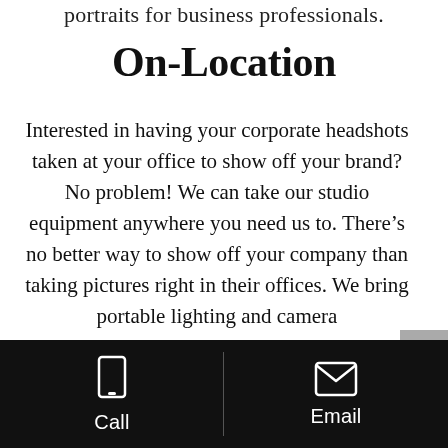portraits for business professionals.
On-Location
Interested in having your corporate headshots taken at your office to show off your brand? No problem! We can take our studio equipment anywhere you need us to. There’s no better way to show off your company than taking pictures right in their offices. We bring portable lighting and camera
Call | Email